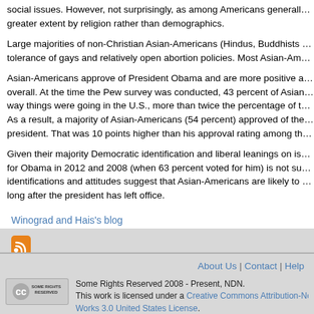social issues. However, not surprisingly, as among Americans generally, so greater extent by religion rather than demographics.
Large majorities of non-Christian Asian-Americans (Hindus, Buddhists and tolerance of gays and relatively open abortion policies. Most Asian-America
Asian-Americans approve of President Obama and are more positive about overall. At the time the Pew survey was conducted, 43 percent of Asian-Am way things were going in the U.S., more than twice the percentage of the g As a result, a majority of Asian-Americans (54 percent) approved of the wa president. That was 10 points higher than his approval rating among the ge
Given their majority Democratic identification and liberal leanings on issues for Obama in 2012 and 2008 (when 63 percent voted for him) is not surpris identifications and attitudes suggest that Asian-Americans are likely to be a long after the president has left office.
Winograd and Hais's blog
[Figure (other): RSS feed icon (orange square with white RSS symbol)]
About Us | Contact | Help
Some Rights Reserved 2008 - Present, NDN. This work is licensed under a Creative Commons Attribution-Noncommercial-No Derivative Works 3.0 United States License.